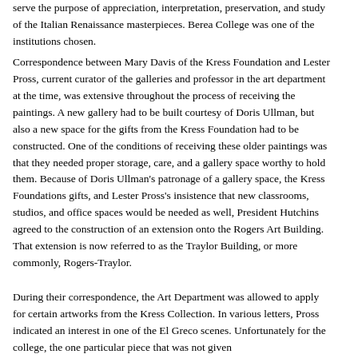serve the purpose of appreciation, interpretation, preservation, and study of the Italian Renaissance masterpieces. Berea College was one of the institutions chosen.
Correspondence between Mary Davis of the Kress Foundation and Lester Pross, current curator of the galleries and professor in the art department at the time, was extensive throughout the process of receiving the paintings. A new gallery had to be built courtesy of Doris Ullman, but also a new space for the gifts from the Kress Foundation had to be constructed. One of the conditions of receiving these older paintings was that they needed proper storage, care, and a gallery space worthy to hold them. Because of Doris Ullman's patronage of a gallery space, the Kress Foundations gifts, and Lester Pross's insistence that new classrooms, studios, and office spaces would be needed as well, President Hutchins agreed to the construction of an extension onto the Rogers Art Building. That extension is now referred to as the Traylor Building, or more commonly, Rogers-Traylor.
During their correspondence, the Art Department was allowed to apply for certain artworks from the Kress Collection. In various letters, Pross indicated an interest in one of the El Greco scenes. Unfortunately for the college, the one particular piece that was not given